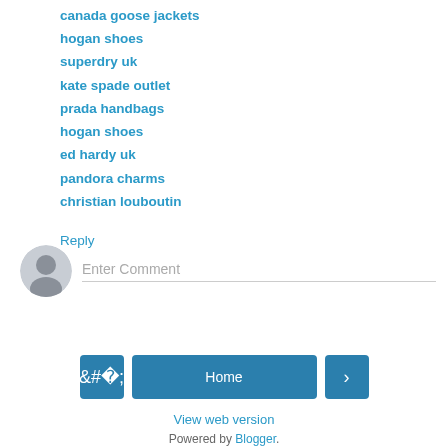canada goose jackets
hogan shoes
superdry uk
kate spade outlet
prada handbags
hogan shoes
ed hardy uk
pandora charms
christian louboutin
Reply
[Figure (other): User avatar icon (grey silhouette) and Enter Comment input field]
Home
View web version
Powered by Blogger.